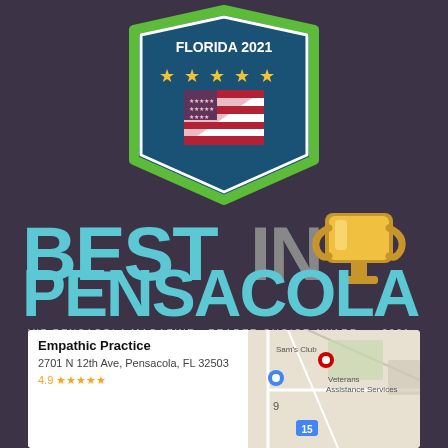[Figure (logo): Shield/badge award logo with 'FLORIDA 2021', five gold stars, and a US flag in the center on dark teal background with green border]
[Figure (logo): Best In Pensacola logo with cyan/teal bold text 'BEST IN' with gray 'IN', 'PENSACOLA' below in cyan, gold trophy icon, and subtitle 'VIP PENSACOLA MAGAZINE READER CHOICE AWARD * 2021']
STAY IN TUNE
[Figure (infographic): Row of social media icon buttons: YouTube (red), Facebook (blue), Twitter (blue), Instagram (white/outline), Phone (gray), Navigation/Telegram (gray)]
[Figure (screenshot): Google Maps card showing 'Empathic Practice', address '2701 N 12th Ave, Pensacola, FL 32503', rating 4.9 stars, with map view showing Sam's Club and Veterans Assistance Services nearby]